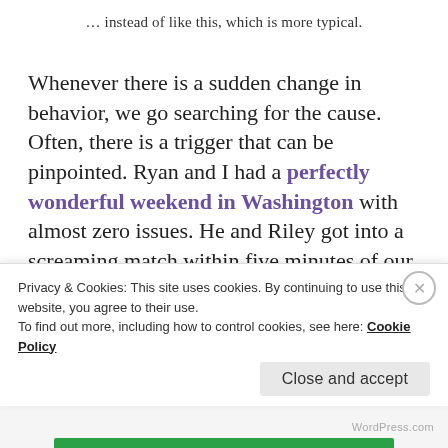… instead of like this, which is more typical.
Whenever there is a sudden change in behavior, we go searching for the cause. Often, there is a trigger that can be pinpointed. Ryan and I had a perfectly wonderful weekend in Washington with almost zero issues. He and Riley got into a screaming match within five minutes of our return, and by Monday morning our house was a disaster area. Ryan got himself worked into such a state while waiting for our old friend the school bus that Veronica could
Privacy & Cookies: This site uses cookies. By continuing to use this website, you agree to their use.
To find out more, including how to control cookies, see here: Cookie Policy
Close and accept